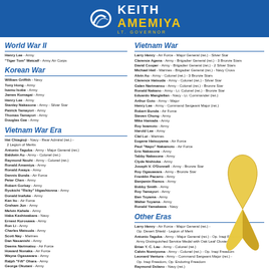Keith Amemiya Lt. Governor
World War II
Henry Lee - Army
"Tiger Tom" Metcalf - Army Air Corps
Korean War
William Griffith - Navy
Tony Hong - Army
Isamu Isobe - Army
James Kumagai - Army
Henry Lee - Army
Stanley Nakasone - Army - Silver Star
Patrick Tamayori - Army
Thomas Tamayori - Army
Douglas Gee - Army
Vietnam War Era
Hei Chiagioji - Navy - Rear Admiral (ret.) - 2 Legion of Merits
Antonio Taguba - Army - Major General (ret.)
Baldwin Au - Army - Colonel (ret.)
Raymond Nouhi - Army - Colonel (ret.)
Ronald Amemiya - Army
Ronald Awaya - Army
Dennis Bunda - Air Force
Peter Chen - Army
Robert Gorbay - Army
Ryokichi "Ricky" Higashionna - Army
Donald Inafuke - Army
Ken Ito - Air Force
Graham Jun - Army
Melvin Kahele - Army
Haba Kashiwabara - Navy
Ernest Kurosawa - Army
Ron Li - Army
Charles Matsuda - Army
Scott Nay - Marines
Dan Nasanishi - Army
Deems Narimatsu - Air Force
Howard Nonaka - Air Force
Wayne Ogasawara - Army
Ralph "Fifi" Ohara - Army
George Okutani - Army
Wilfred Sakai - Army
Haona K. Sanders - Air Force (ret.)
Andrew Tamori - Army
Hako Toshima - Army
Steven Tsugawa - Navy
Bonifacio Ulan - Air Force
Alex Uyeda - Army
Ronald Yokimotho - Army
Vietnam War
Larry Henry - Air Force - Major General (ret.) - Silver Star
Clarence Agena - Army - Brigadier General (ret.) - 3 Bronze Stars
David Cooper - Army - Brigadier General (ret.) - 2 Silver Stars
Michael Heil - Marines - Brigadier General (ret.) - Navy Cross
Alvin Au - Army - Colonel (ret.) - 3 Bronze Stars
Clarence Hatsuda - Army - Colonel (ret.) - Silver Star
Galen Narimansu - Army - Colonel (ret.) - Bronze Star
Ronald Nakano - Army - Lt. Colonel (ret.) - Bronze Star
Eduardo Manglellan - Navy - Lt. Commander (ret.)
Arthur Goto - Army - Major
Henry Lee - Army - Command Sergeant Major (ret.)
Robert Bunda - Air Force
Steven Chung - Army
Mike Hamada - Army
Roy Iwamoto - Army
Harold Lee - Army
Clal Lui - Marines
Eugene Hatsuyama - Air Force
Paul "Napo" Nakamoto - Air Force
Eric Nakasone - Army
Tabby Nakasone - Army
Clyde Nishioka - Army
Joseph V. O'Donnell - Army - Bronze Star
Roy Ogasawara - Army - Bronze Star
Franklin Pacarro - Army
Benjamin Ramos - Army
Bobby Smith - Army
Roy Tamayori - Army
Ben Toyama - Army
Walter Toyama - Army
Ronald Yamakawa - Navy
Other Eras
Larry Henry - Air Force - Major General (ret.) - Op. Desert Shield - Legion of Merit
Antonio Taguba - Army - Major General (ret.) - Op. Iraqi Freedom - Army Distinguished Service Medal with Oak Leaf Cluster
Brian Y. C. Lau - Army - Colonel (ret.)
Calvin Nomiyoma - Army - Colonel (ret.) - Op. Iraqi Freedom
Leonard Ventura - Army - Command Sergeant Major (ret.) - Op. Iraqi Freedom, Op. Enduring Freedom
Raymond Dolano - Navy (ret.)
Abraham Guilermo - Army - Op. Desert Storm, Gulf War, and Op. Enduring Freedom
Dionisio Guzman - Marines - 2003 to 2007
Lora Henry - Air Force - Op. Iraqi Freedom and Op. Enduring Freedom
Jordan Iwase - Air Force - 2013 to 2019
Richard Kushimi - Marines - 1953 to 1957
Steven Hiranaka - Army - 1974 to 1980